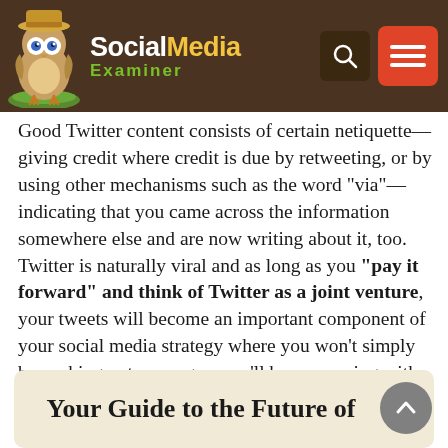Social Media Examiner
Good Twitter content consists of certain netiquette—giving credit where credit is due by retweeting, or by using other mechanisms such as the word "via"—indicating that you came across the information somewhere else and are now writing about it, too. Twitter is naturally viral and as long as you "pay it forward" and think of Twitter as a joint venture, your tweets will become an important component of your social media strategy where you won't simply be pushing out messages, you'll be conversing with others and building your social network.
Your Guide to the Future of